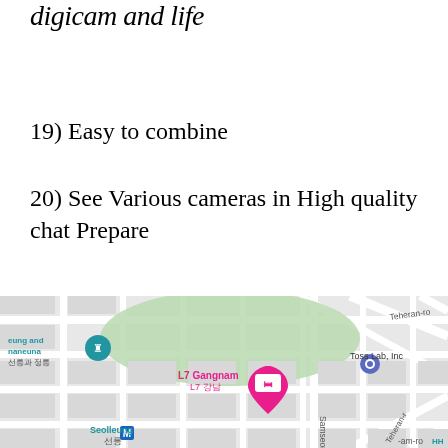digicam and life
19) Easy to combine
20) See Various cameras in High quality chat Prepare
[Figure (map): Google Maps showing Gangnam area of Seoul, South Korea, featuring landmarks: Seoul Parnas an IHG, Teheran-ro, Toss Lab Inc, L7 Gangnam (L7 강남), Seolleung station (선릉), Samseong-ro, and a green park area (선릉과 정릉).]